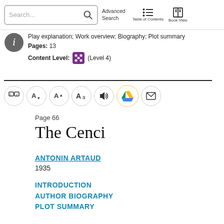Search... | Advanced Search | Table of Contents | Book View
Play explanation; Work overview; Biography; Plot summary
Pages: 13
Content Level: (Level 4)
[Figure (screenshot): Toolbar with icons: translate, text size down, text size up, font selector, audio, Google Drive, email]
Page 66
The Cenci
ANTONIN ARTAUD
1935
INTRODUCTION
AUTHOR BIOGRAPHY
PLOT SUMMARY